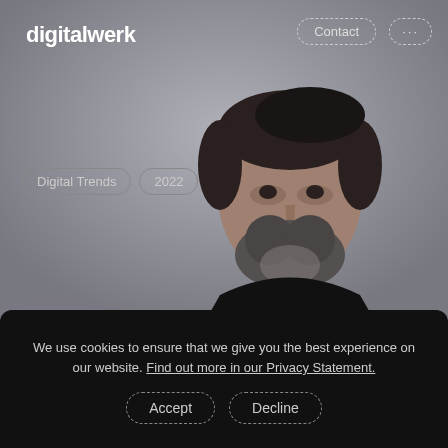[Figure (screenshot): Screenshot of digitalwerk website showing a bearded man in dark clothing against a grey background, with navigation buttons Contact and more (...)]
digitalwerk
Contact
...
Digital Trends
2022
Back to overview
We use cookies to ensure that we give you the best experience on our website. Find out more in our Privacy Statement.
Accept
Decline